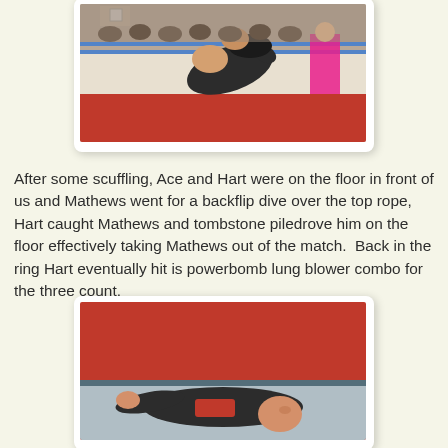[Figure (photo): Wrestling match photo showing two wrestlers, one performing a move on the other near the ropes of a wrestling ring, with audience in the background and a person in pink visible at ringside.]
After some scuffling, Ace and Hart were on the floor in front of us and Mathews went for a backflip dive over the top rope, Hart caught Mathews and tombstone piledrove him on the floor effectively taking Mathews out of the match.  Back in the ring Hart eventually hit is powerbomb lung blower combo for the three count.
[Figure (photo): Photo of a wrestler lying on the mat outside the ring, appearing to be knocked out or stunned, with red curtain/skirting visible in the background.]